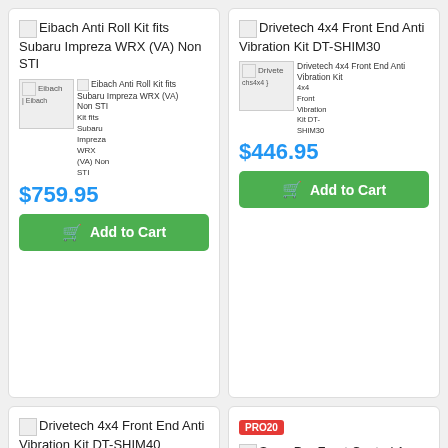[Figure (screenshot): Product listing grid with 4 product cards showing automotive parts]
Eibach Anti Roll Kit fits Subaru Impreza WRX (VA) Non STI
$759.95
Add to Cart
Drivetech 4x4 Front End Anti Vibration Kit DT-SHIM30
$446.95
Add to Cart
Drivetech 4x4 Front End Anti Vibration Kit DT-SHIM40
PRO20
SuperPro Front Control Arm Lower-Inner Rear Anti Lift Bush Kit Fits VW SPF3273-80K